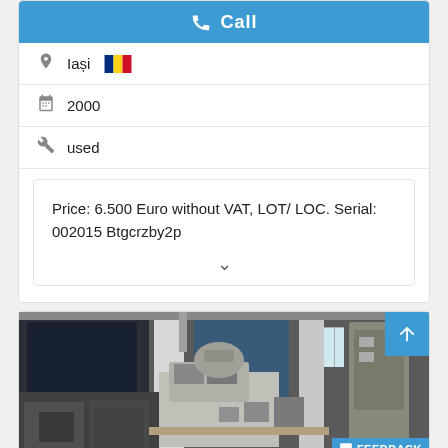Call
Iași
2000
used
Price: 6.500 Euro without VAT, LOT/ LOC. Serial: 002015 Btgcrzby2p
[Figure (photo): Industrial workshop photo showing machinery and equipment including what appears to be precision manufacturing or packaging machines in a factory setting.]